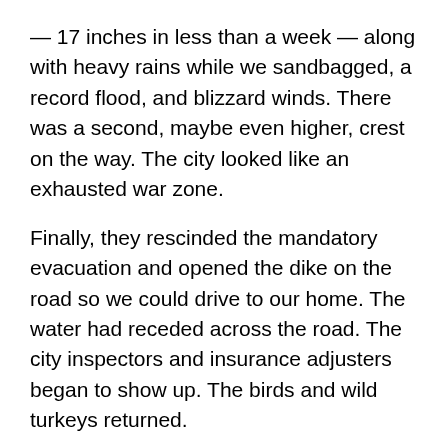— 17 inches in less than a week — along with heavy rains while we sandbagged, a record flood, and blizzard winds. There was a second, maybe even higher, crest on the way. The city looked like an exhausted war zone.
Finally, they rescinded the mandatory evacuation and opened the dike on the road so we could drive to our home. The water had receded across the road. The city inspectors and insurance adjusters began to show up. The birds and wild turkeys returned.
The city declared our home uninhabitable.
Two homes in our neighborhood of 11 houses were destroyed. Three others had water in the basement. The peninsula was a mess from the clay dikes, home dikes, and roads damaged by heavy equipment. The second crest was lower than predicted. The dogs and...